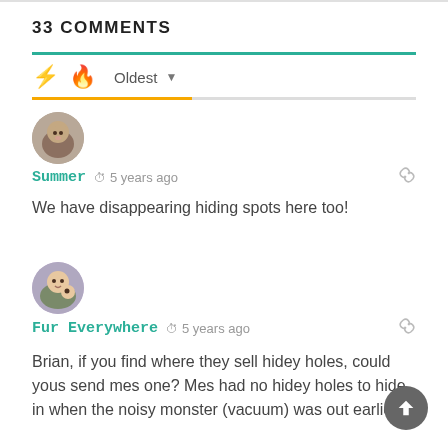33 COMMENTS
[Figure (illustration): Sort icons: lightning bolt (orange) and flame (red-orange) with 'Oldest' dropdown selector]
[Figure (photo): Avatar of user Summer, circular profile picture showing a cat]
Summer  5 years ago
We have disappearing hiding spots here too!
[Figure (photo): Avatar of user Fur Everywhere, circular profile picture showing a person outdoors]
Fur Everywhere  5 years ago
Brian, if you find where they sell hidey holes, could yous send mes one? Mes had no hidey holes to hide in when the noisy monster (vacuum) was out earlier!